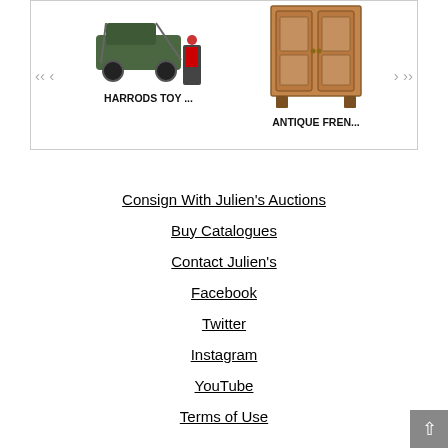[Figure (photo): Harrods toy vehicle with figurines on a base and an antique French cabinet, displayed in a carousel slideshow with navigation arrows]
Consign With Julien's Auctions
Buy Catalogues
Contact Julien's
Facebook
Twitter
Instagram
YouTube
Terms of Use
Terms & Conditions
Privacy Policy